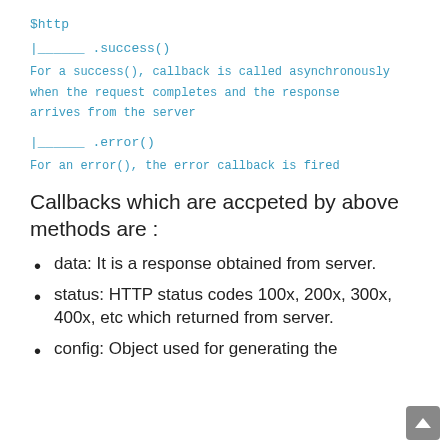$http
|______ .success()
For a success(), callback is called asynchronously when the request completes and the response arrives from the server
|______ .error()
For an error(), the error callback is fired
Callbacks which are accpeted by above methods are :
data: It is a response obtained from server.
status: HTTP status codes 100x, 200x, 300x, 400x, etc which returned from server.
config: Object used for generating the